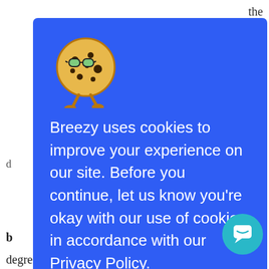the n, go ng. Don't be ruit, but pport, find a tion t: t degree. Sometimes even veterans with 10+
[Figure (illustration): Cookie character illustration: a round yellow cookie with black spots, green glasses, and legs, walking]
Breezy uses cookies to improve your experience on our site. Before you continue, let us know you're okay with our use of cookies, in accordance with our Privacy Policy.
Awesome 🍪
[Figure (illustration): Teal chat bubble support icon in bottom right corner]